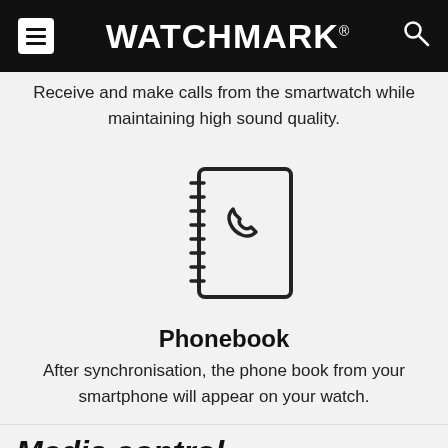WATCHMARK®
Receive and make calls from the smartwatch while maintaining high sound quality.
[Figure (illustration): Icon of a phone book / contact book with a telephone handset symbol on the cover and spiral binding on the left side.]
Phonebook
After synchronisation, the phone book from your smartphone will appear on your watch.
Media control